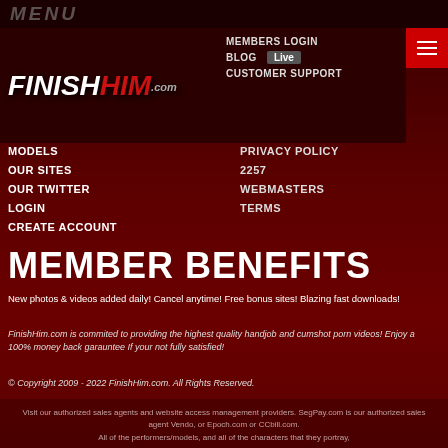MENU
[Figure (logo): FinishHim.com logo with stylized text in white and red, italic bold font]
MEMBERS LOGIN
BLOG
CUSTOMER SUPPORT
MODELS
OUR SITES
OUR TWITTER
LOGIN
CREATE ACCOUNT
PRIVACY POLICY
2257
WEBMASTERS
TERMS
MEMBER BENEFITS
New photos & videos added daily! Cancel anytime! Free bonus sites! Blazing fast downloads!
FinishHim.com is commited to providing the highest quality handjob and cumshot porn videos! Enjoy a 100% money back garauntee If your not fully satisfied!
© Copyright 2009 - 2022 FinishHim.com. All Rights Reserved.
Visit our authorized sales agents and website access management providers. SegPay.com is our authorized sales agent Vendo, or Epoch.com or CCbill.com. All of the performers/models, and all of the characters that they portray,